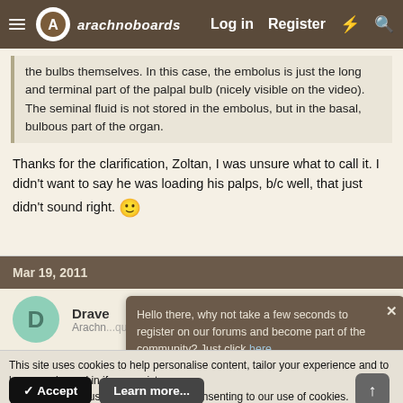arachnoboards — Log in  Register
the bulbs themselves. In this case, the embolus is just the long and terminal part of the palpal bulb (nicely visible on the video). The seminal fluid is not stored in the embolus, but in the basal, bulbous part of the organ.
Thanks for the clarification, Zoltan, I was unsure what to call it. I didn't want to say he was loading his palps, b/c well, that just didn't sound right. 🙂
Mar 19, 2011
Hello there, why not take a few seconds to register on our forums and become part of the community? Just click here.
Drave
Arachn...quire
This site uses cookies to help personalise content, tailor your experience and to keep you logged in if you register.
By continuing to use this site, you are consenting to our use of cookies.